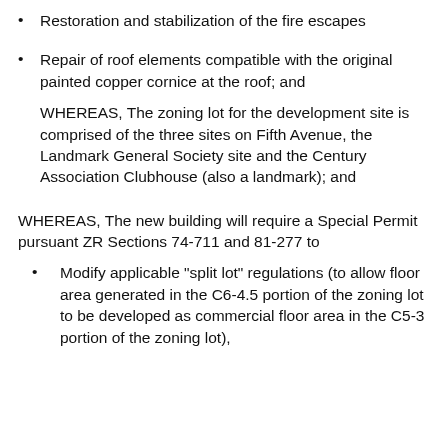Restoration and stabilization of the fire escapes
Repair of roof elements compatible with the original painted copper cornice at the roof; and
WHEREAS, The zoning lot for the development site is comprised of the three sites on Fifth Avenue, the Landmark General Society site and the Century Association Clubhouse (also a landmark); and
WHEREAS, The new building will require a Special Permit pursuant ZR Sections 74-711 and 81-277 to
Modify applicable "split lot" regulations (to allow floor area generated in the C6-4.5 portion of the zoning lot to be developed as commercial floor area in the C5-3 portion of the zoning lot),